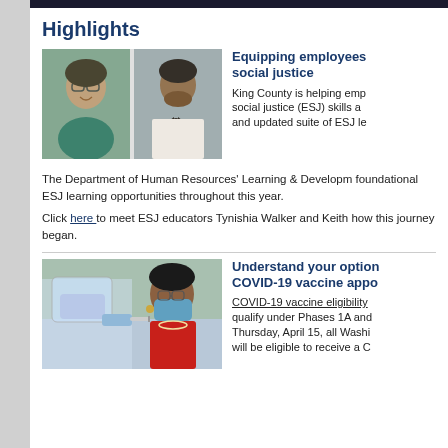Highlights
[Figure (photo): Two photos side by side: a woman with glasses smiling, and a man in a white tuxedo]
Equipping employees social justice
King County is helping emp social justice (ESJ) skills a and updated suite of ESJ le
The Department of Human Resources' Learning & Developm foundational ESJ learning opportunities throughout this year.
Click here to meet ESJ educators Tynishia Walker and Keith how this journey began.
[Figure (photo): A healthcare worker in PPE administering a vaccine to a woman wearing a mask and red clothing]
Understand your option COVID-19 vaccine appo
COVID-19 vaccine eligibility qualify under Phases 1A and Thursday, April 15, all Washi will be eligible to receive a C